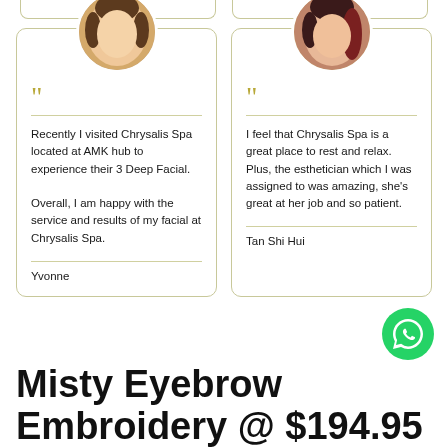[Figure (photo): Circular avatar photo of a young Asian woman with straight dark hair, smiling]
Recently I visited Chrysalis Spa located at AMK hub to experience their 3 Deep Facial.

Overall, I am happy with the service and results of my facial at Chrysalis Spa.
Yvonne
[Figure (photo): Circular avatar photo of a young Asian woman with dark reddish hair, serious expression]
I feel that Chrysalis Spa is a great place to rest and relax. Plus, the esthetician which I was assigned to was amazing, she's great at her job and so patient.
Tan Shi Hui
[Figure (logo): WhatsApp green circular icon with phone/chat logo]
Misty Eyebrow Embroidery @ $194.95